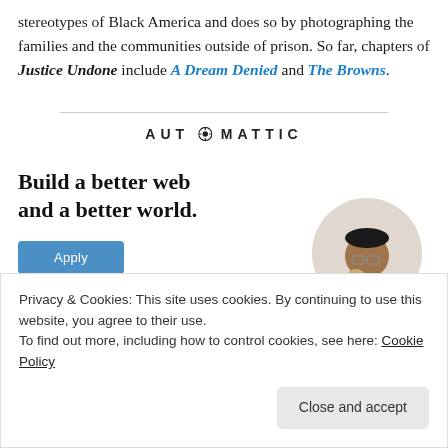stereotypes of Black America and does so by photographing the families and the communities outside of prison. So far, chapters of Justice Undone include A Dream Denied and The Browns.
[Figure (logo): Automattic logo with stylized compass O]
[Figure (illustration): Ad for Automattic: 'Build a better web and a better world.' with Apply button and circular photo of a person thinking]
Privacy & Cookies: This site uses cookies. By continuing to use this website, you agree to their use.
To find out more, including how to control cookies, see here: Cookie Policy
Close and accept